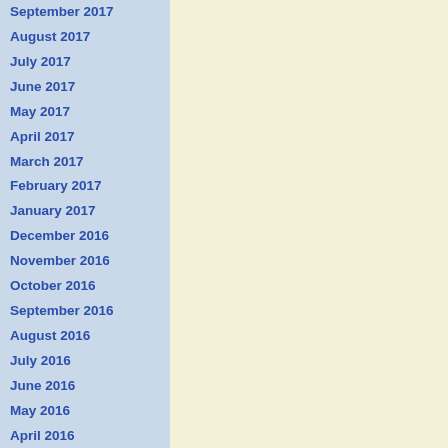September 2017
August 2017
July 2017
June 2017
May 2017
April 2017
March 2017
February 2017
January 2017
December 2016
November 2016
October 2016
September 2016
August 2016
July 2016
June 2016
May 2016
April 2016
March 2016
February 2016
January 2016
December 2015
November 2015
October 2015
September 2015
August 2015